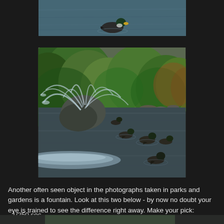[Figure (photo): Partial top view of a duck swimming on water, cropped photo showing just the water surface and a duck]
[Figure (photo): A park pond with a fountain spraying water, green foliage in background, and several ducks swimming]
Another often seen object in the photographs taken in parks and gardens is a fountain. Look at this two below - by now no doubt your eye is trained to see the difference right away. Make your pick:
1/250 sec